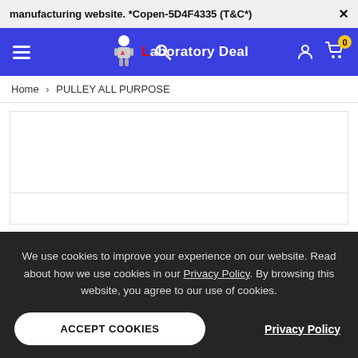manufacturing website. *Copen-5D4F4335 (T&C*)
[Figure (screenshot): Laboratory Deal website navigation bar with blue background, hamburger menu, search icon, logo with lab robot figure, user icon, and cart icon with badge showing 0]
Home > PULLEY ALL PURPOSE
[Figure (other): White product image area with horizontal divider line]
We use cookies to improve your experience on our website. Read about how we use cookies in our Privacy Policy. By browsing this website, you agree to our use of cookies.
ACCEPT COOKIES
Privacy Policy